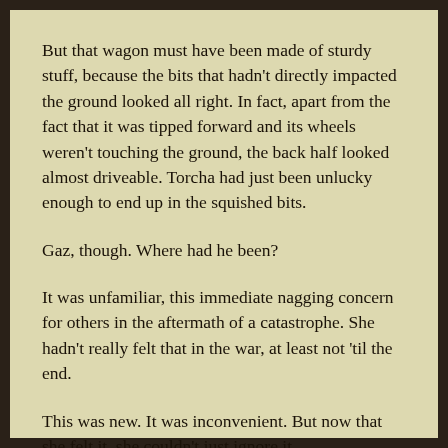But that wagon must have been made of sturdy stuff, because the bits that hadn't directly impacted the ground looked all right. In fact, apart from the fact that it was tipped forward and its wheels weren't touching the ground, the back half looked almost driveable. Torcha had just been unlucky enough to end up in the squished bits.
Gaz, though. Where had he been?
It was unfamiliar, this immediate nagging concern for others in the aftermath of a catastrophe. She hadn't really felt that in the war, at least not 'til the end.
This was new. It was inconvenient. But now that she felt it, she couldn't just ignore it.